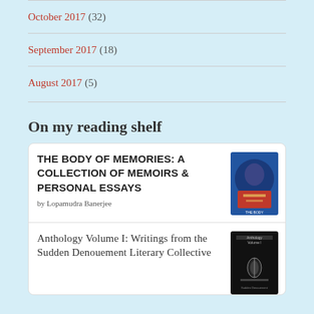October 2017 (32)
September 2017 (18)
August 2017 (5)
On my reading shelf
THE BODY OF MEMORIES: A COLLECTION OF MEMOIRS & PERSONAL ESSAYS by Lopamudra Banerjee
Anthology Volume I: Writings from the Sudden Denouement Literary Collective